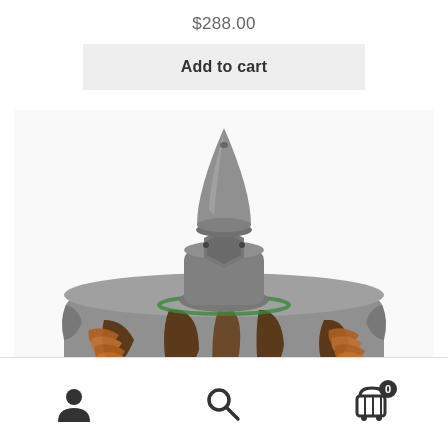$288.00
Add to cart
[Figure (photo): Close-up photo of a brushless drone/RC motor with a silver bullet-shaped nose cone on top, showing copper windings visible through the vented silver aluminum motor body.]
User icon | Search icon | Cart icon with badge 0